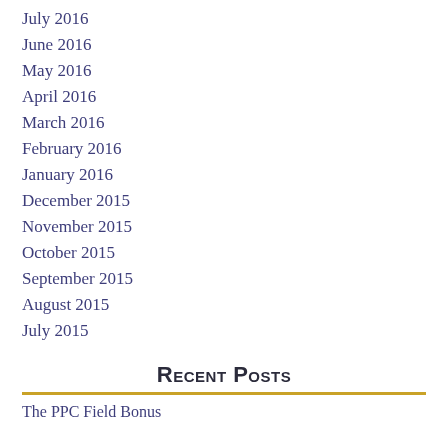July 2016
June 2016
May 2016
April 2016
March 2016
February 2016
January 2016
December 2015
November 2015
October 2015
September 2015
August 2015
July 2015
Recent Posts
The PPC Field Bonus